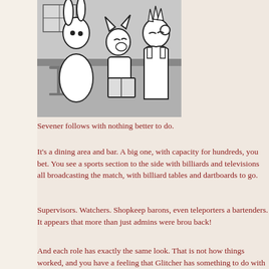[Figure (illustration): Black and white comic/manga style illustration showing anthropomorphic animal characters in a dining/bar setting. Three characters visible: a rabbit-like character on the left, a fox-like character in the middle reading a book, and a taller character with spiky hair on the right. Background shows bar stools and a window.]
Sevener follows with nothing better to do.
It's a dining area and bar. A big one, with capacity for hundreds, you bet. You see a sports section to the side with billiards and televisions all broadcasting the match, with billiard tables and dartboards to go.
Supervisors. Watchers. Shopkeep barons, even teleporters as bartenders. It appears that more than just admins were brought back!
And each role has exactly the same look. That is not how things worked, and you have a feeling that Glitcher has something to do with this: either he had to reconstruct this